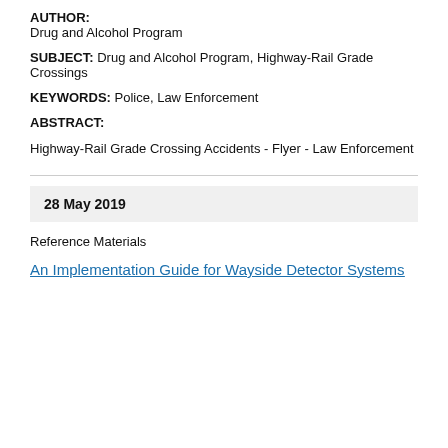AUTHOR: Drug and Alcohol Program
SUBJECT: Drug and Alcohol Program, Highway-Rail Grade Crossings
KEYWORDS: Police, Law Enforcement
ABSTRACT: Highway-Rail Grade Crossing Accidents - Flyer - Law Enforcement
28 May 2019
Reference Materials
An Implementation Guide for Wayside Detector Systems